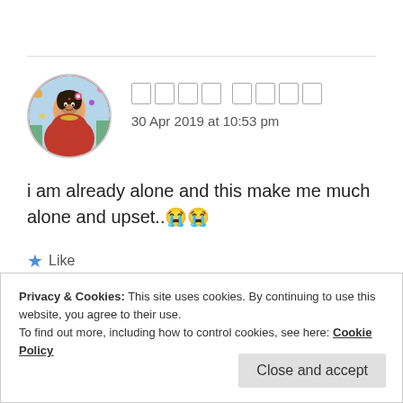[Figure (photo): Circular avatar of a woman in traditional Indian dress with colorful background]
□□□□ □□□□
30 Apr 2019 at 10:53 pm
i am already alone and this make me much alone and upset..😭😭
★ Like
Privacy & Cookies: This site uses cookies. By continuing to use this website, you agree to their use.
To find out more, including how to control cookies, see here: Cookie Policy
Close and accept